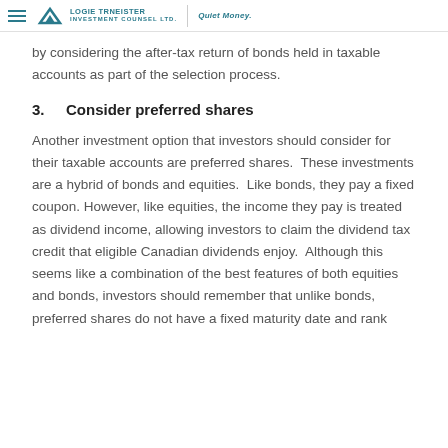Logie Trneister Investment Counsel Ltd. | Quiet Money.
by considering the after-tax return of bonds held in taxable accounts as part of the selection process.
3. Consider preferred shares
Another investment option that investors should consider for their taxable accounts are preferred shares. These investments are a hybrid of bonds and equities. Like bonds, they pay a fixed coupon. However, like equities, the income they pay is treated as dividend income, allowing investors to claim the dividend tax credit that eligible Canadian dividends enjoy. Although this seems like a combination of the best features of both equities and bonds, investors should remember that unlike bonds, preferred shares do not have a fixed maturity date and rank